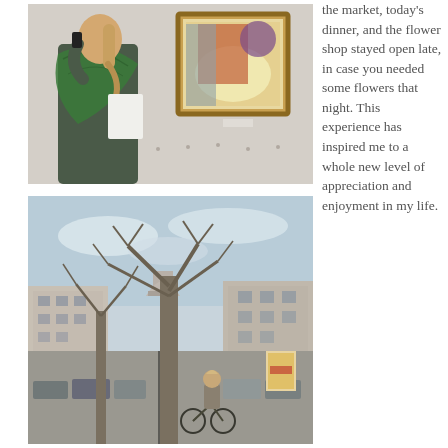[Figure (photo): A woman with blonde hair in a ponytail wearing a green patterned scarf, viewed from behind, looking at a framed painting on a white gallery wall. She holds a white paper and appears to be speaking on a phone.]
the market, today's dinner, and the flower shop stayed open late, in case you needed some flowers that night. This experience has inspired me to a whole new level of appreciation and enjoyment in my life.
[Figure (photo): A street scene in Paris showing a wide boulevard with bare winter trees, cars parked along both sides, a woman cycling away from the camera, and what appears to be the Arc de Triomphe visible in the distance.]